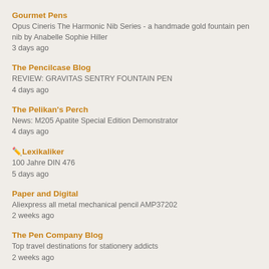Gourmet Pens
Opus Cineris The Harmonic Nib Series - a handmade gold fountain pen nib by Anabelle Sophie Hiller
3 days ago
The Pencilcase Blog
REVIEW: GRAVITAS SENTRY FOUNTAIN PEN
4 days ago
The Pelikan's Perch
News: M205 Apatite Special Edition Demonstrator
4 days ago
✏️Lexikaliker
100 Jahre DIN 476
5 days ago
Paper and Digital
Aliexpress all metal mechanical pencil AMP37202
2 weeks ago
The Pen Company Blog
Top travel destinations for stationery addicts
2 weeks ago